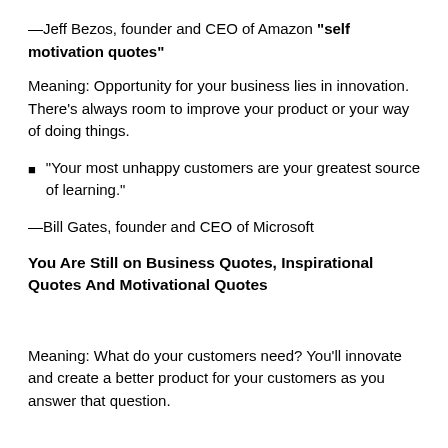—Jeff Bezos, founder and CEO of Amazon "self motivation quotes"
Meaning: Opportunity for your business lies in innovation. There's always room to improve your product or your way of doing things.
“Your most unhappy customers are your greatest source of learning.”
—Bill Gates, founder and CEO of Microsoft
You Are Still on Business Quotes, Inspirational Quotes And Motivational Quotes
Meaning: What do your customers need? You’ll innovate and create a better product for your customers as you answer that question.